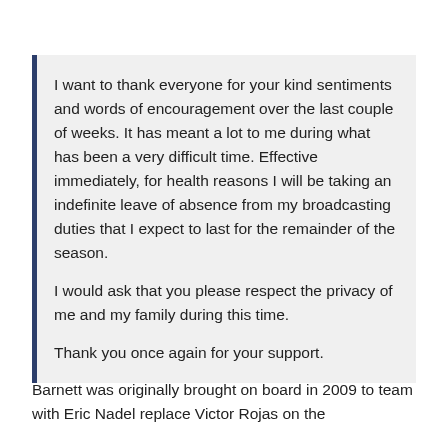I want to thank everyone for your kind sentiments and words of encouragement over the last couple of weeks. It has meant a lot to me during what has been a very difficult time. Effective immediately, for health reasons I will be taking an indefinite leave of absence from my broadcasting duties that I expect to last for the remainder of the season.

I would ask that you please respect the privacy of me and my family during this time.

Thank you once again for your support.
Barnett was originally brought on board in 2009 to team with Eric Nadel replace Victor Rojas on the